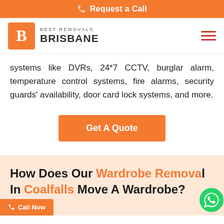Request a Call
[Figure (logo): Best Removals Brisbane logo — orange square with letter B, beside text BEST REMOVALS BRISBANE]
systems like DVRs, 24*7 CCTV, burglar alarm, temperature control systems, fire alarms, security guards' availability, door card lock systems, and more.
[Figure (other): Orange 'Get A Quote' call-to-action button]
How Does Our Wardrobe Removal In Coalfalls Move A Wardrobe?